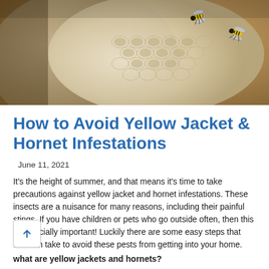[Figure (photo): Close-up photo of yellow jackets or hornets on a paper nest with honeycomb-like cells visible, warm tan and brown tones]
How to Avoid Yellow Jacket & Hornet Infestations
June 11, 2021
It's the height of summer, and that means it's time to take precautions against yellow jacket and hornet infestations. These insects are a nuisance for many reasons, including their painful stings. If you have children or pets who go outside often, then this is especially important! Luckily there are some easy steps that one can take to avoid these pests from getting into your home.
what are yellow jackets and hornets?